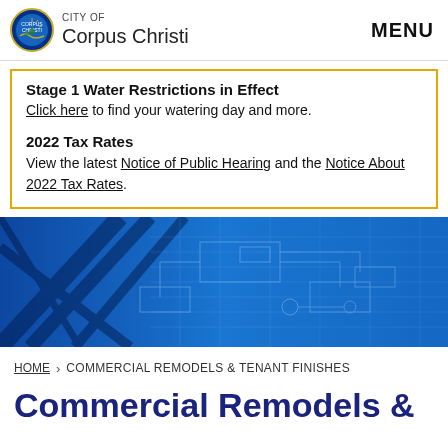CITY OF Corpus Christi MENU
Stage 1 Water Restrictions in Effect
Click here to find your watering day and more.

2022 Tax Rates
View the latest Notice of Public Hearing and the Notice About 2022 Tax Rates.
[Figure (photo): Blue-tinted banner image showing structural steel beams and engineering/blueprint drawings overlay]
HOME > COMMERCIAL REMODELS & TENANT FINISHES
Commercial Remodels &